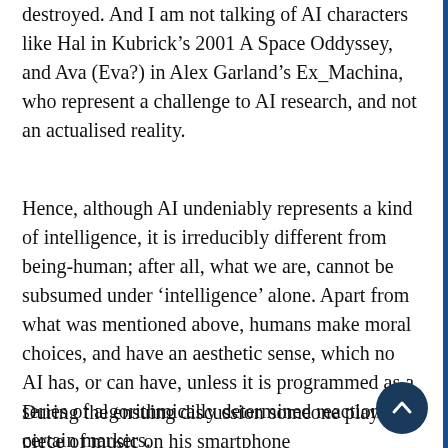destroyed. And I am not talking of AI characters like Hal in Kubrick’s 2001 A Space Oddyssey, and Ava (Eva?) in Alex Garland’s Ex_Machina, who represent a challenge to AI research, and not an actualised reality.
Hence, although AI undeniably represents a kind of intelligence, it is irreducibly different from being-human; after all, what we are, cannot be subsumed under ‘intelligence’ alone. Apart from what was mentioned above, humans make moral choices, and have an aesthetic sense, which no AI has, or can have, unless it is programmed as a series of algorithmically determined reactions to certain markers.
During the ensuing discussion someone played a piece of music on his smartphone